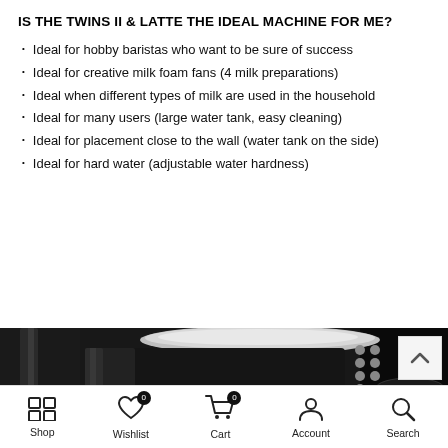IS THE TWINS II & LATTE THE IDEAL MACHINE FOR ME?
Ideal for hobby baristas who want to be sure of success
Ideal for creative milk foam fans (4 milk preparations)
Ideal when different types of milk are used in the household
Ideal for many users (large water tank, easy cleaning)
Ideal for placement close to the wall (water tank on the side)
Ideal for hard water (adjustable water hardness)
[Figure (photo): Close-up photo of a black espresso/coffee machine (Twins II & Latte) against a dark background, showing the top panel with buttons and a cylindrical body.]
Shop | Wishlist 0 | Cart 0 | Account | Search